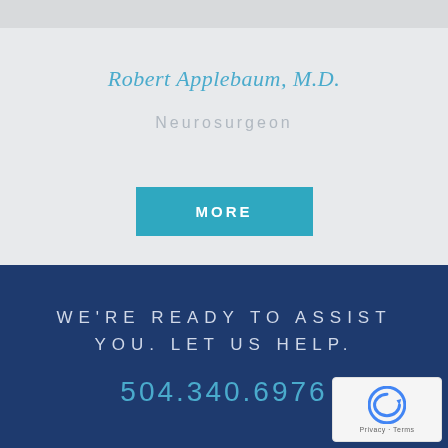[Figure (photo): Partial photo of Robert Applebaum M.D. at top]
Robert Applebaum, M.D.
Neurosurgeon
MORE
WE'RE READY TO ASSIST YOU. LET US HELP.
504.340.6976